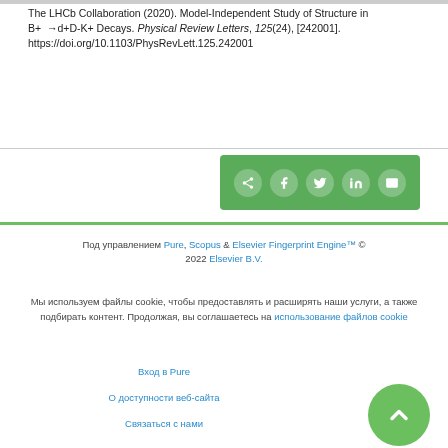The LHCb Collaboration (2020). Model-Independent Study of Structure in B+ →d+D-K+ Decays. Physical Review Letters, 125(24), [242001]. https://doi.org/10.1103/PhysRevLett.125.242001
[Figure (other): Social share bar with icons for share, Facebook, Twitter, LinkedIn, and email on a green background]
Под управлением Pure, Scopus & Elsevier Fingerprint Engine™ © 2022 Elsevier B.V.
Мы используем файлы cookie, чтобы предоставлять и расширять наши услуги, а также подбирать контент. Продолжая, вы соглашаетесь на использование файлов cookie
Вход в Pure
О доступности веб-сайта
Связаться с нами